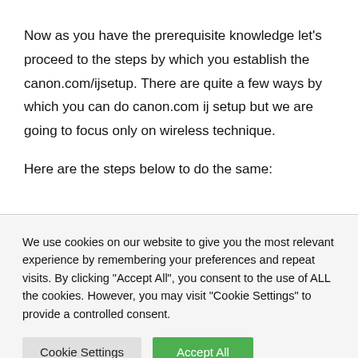Now as you have the prerequisite knowledge let's proceed to the steps by which you establish the canon.com/ijsetup. There are quite a few ways by which you can do canon.com ij setup but we are going to focus only on wireless technique.
Here are the steps below to do the same:
We use cookies on our website to give you the most relevant experience by remembering your preferences and repeat visits. By clicking "Accept All", you consent to the use of ALL the cookies. However, you may visit "Cookie Settings" to provide a controlled consent.